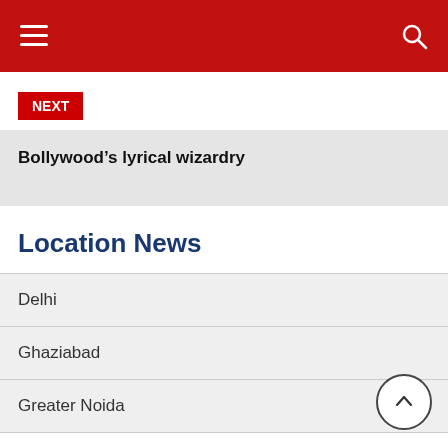Navigation header with hamburger menu and search icon
NEXT
Bollywood's lyrical wizardry
Location News
Delhi
Ghaziabad
Greater Noida